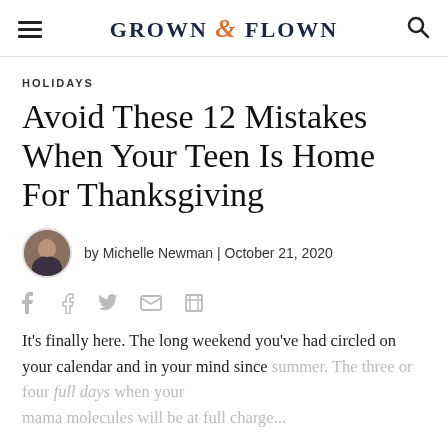GROWN & FLOWN
HOLIDAYS
Avoid These 12 Mistakes When Your Teen Is Home For Thanksgiving
by Michelle Newman | October 21, 2020
It's finally here. The long weekend you've had circled on your calendar and in your mind since summer. The three or four full days when your mama molecules will be at full charge...